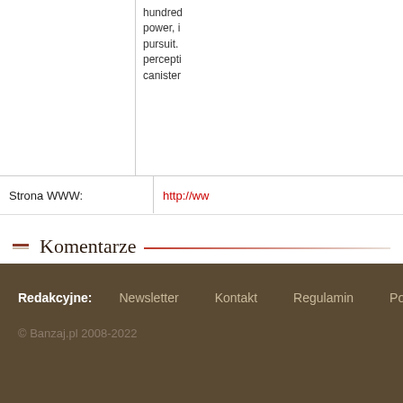hundred power, i pursuit. percepti canister
Strona WWW:
http://ww
Komentarze
Do
Do
Bra
Redakcyjne: Newsletter Kontakt Regulamin Polityka pryw © Banzaj.pl 2008-2022